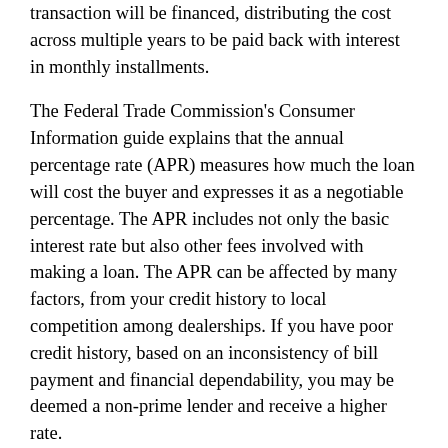transaction will be financed, distributing the cost across multiple years to be paid back with interest in monthly installments.
The Federal Trade Commission's Consumer Information guide explains that the annual percentage rate (APR) measures how much the loan will cost the buyer and expresses it as a negotiable percentage. The APR includes not only the basic interest rate but also other fees involved with making a loan. The APR can be affected by many factors, from your credit history to local competition among dealerships. If you have poor credit history, based on an inconsistency of bill payment and financial dependability, you may be deemed a non-prime lender and receive a higher rate.
Interest rates can either be fixed, remaining the same throughout the entire repayment term, or are variable and fluctuate based on the current index.